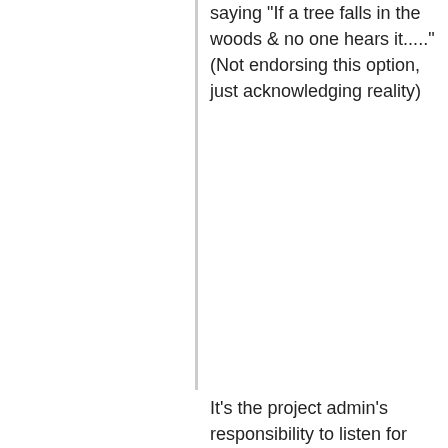saying "If a tree falls in the woods & no one hears it....." (Not endorsing this option, just acknowledging reality)
It's the project admin's responsibility to listen for falling trees. http://boinc.berkeley.edu/trac/wiki/CodeSign BOINC's code signing procedure prevents unauthorized binaries from doing work, at least when the BOINC client isn't being fooled.
A volunteer assumes the risk of joining a reputable project (not secretly producing Bitcoin for the project admin, for example). But even...